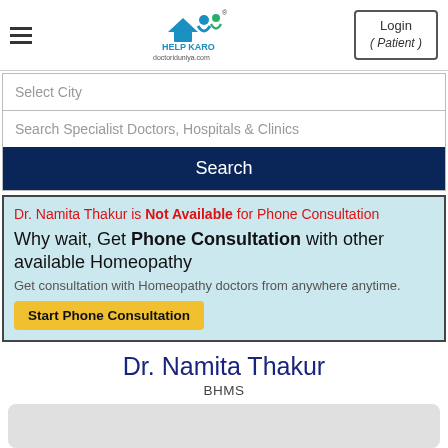[Figure (logo): Help Karo doctoriduniya.com logo with stylized figures and house icon]
Login ( Patient )
Select City
Search Specialist Doctors, Hospitals & Clinics
Search
Dr. Namita Thakur is Not Available for Phone Consultation
Why wait, Get Phone Consultation with other available Homeopathy
Get consultation with Homeopathy doctors from anywhere anytime.
Start Phone Consultation
Dr. Namita Thakur
BHMS